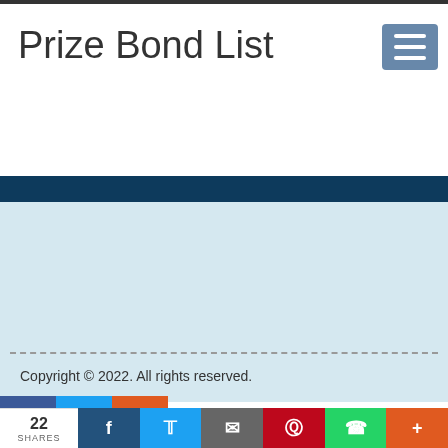Prize Bond List
100
200
750
1500
7500
15000
25000
40000
Blog
Copyright © 2022. All rights reserved.